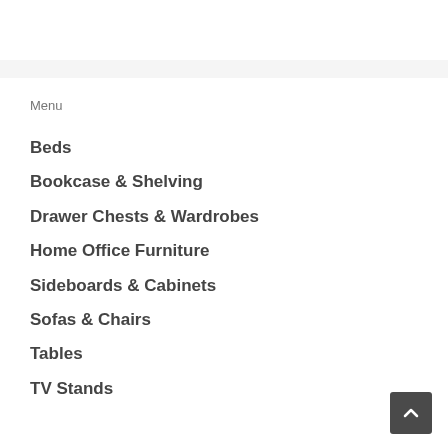Menu
Beds
Bookcase & Shelving
Drawer Chests & Wardrobes
Home Office Furniture
Sideboards & Cabinets
Sofas & Chairs
Tables
TV Stands